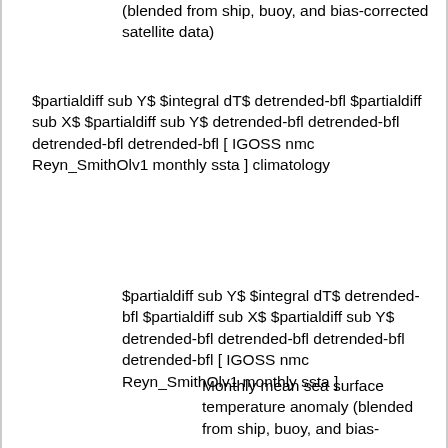(blended from ship, buoy, and bias-corrected satellite data)
$partialdiff sub Y$ $integral dT$ detrended-bfl $partialdiff sub X$ $partialdiff sub Y$ detrended-bfl detrended-bfl detrended-bfl detrended-bfl [ IGOSS nmc Reyn_SmithOlv1 monthly ssta ] climatology
$partialdiff sub Y$ $integral dT$ detrended-bfl $partialdiff sub X$ $partialdiff sub Y$ detrended-bfl detrended-bfl detrended-bfl detrended-bfl [ IGOSS nmc Reyn_SmithOlv1 monthly ssta ]
Monthly mean sea surface temperature anomaly (blended from ship, buoy, and bias-